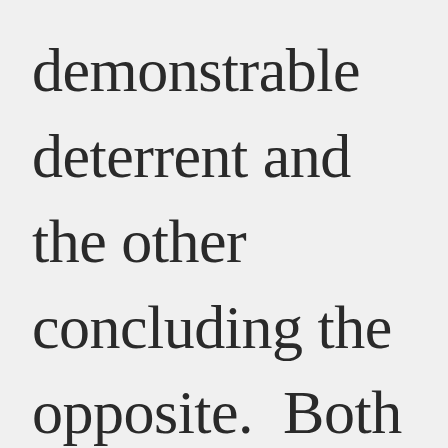demonstrable deterrent and the other concluding the opposite. Both studies contained substantial data to